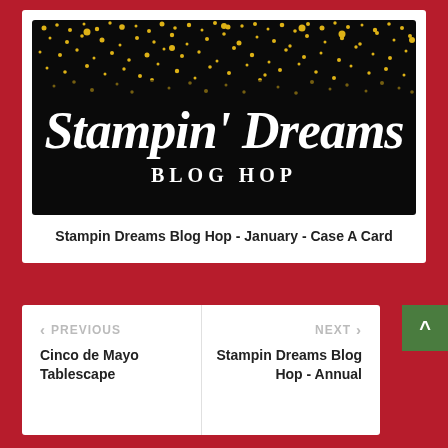[Figure (illustration): Stampin' Dreams Blog Hop banner image — black background with gold glitter/sparkle effect at the top, white script text 'Stampin' Dreams' in the center, and 'BLOG HOP' in white serif capitals below]
Stampin Dreams Blog Hop - January - Case A Card
< PREVIOUS
Cinco de Mayo Tablescape
NEXT >
Stampin Dreams Blog Hop - Annual